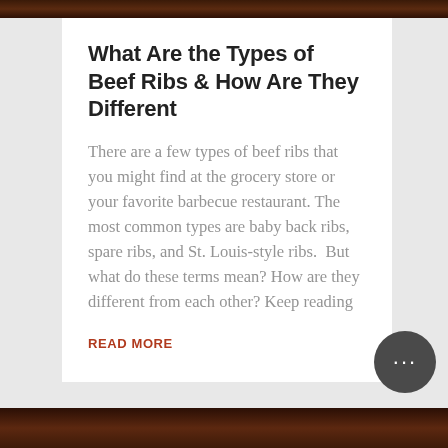[Figure (photo): Top partial food/barbecue image strip at the top of the page]
What Are the Types of Beef Ribs & How Are They Different
There are a few types of beef ribs that you might find at the grocery store or your favorite barbecue restaurant. The most common types are baby back ribs, spare ribs, and St. Louis-style ribs.  But what do these terms mean? How are they different from each other? Keep reading
READ MORE
[Figure (photo): Bottom partial food/barbecue image strip at the bottom of the page]